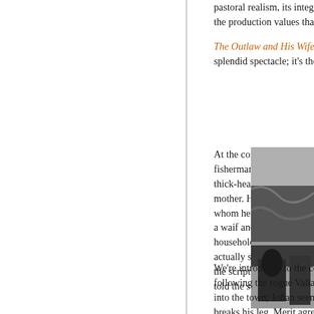pastoral realism, its integration of landscape into the story, the production values that overseas critics had praised in The Outlaw and His Wife (1918). Like the Sjöst... splendid spectacle; it's the study of the undercu...
At the core is a love triangle. The fisherman Johan is the somewhat thick-headed son of a domineering mother. He is fond of the girl Merit, whom he and his mother rescued as a waif and brought into their household. But this synopsis is actually skewed, because Stiller and the scriptwriter Arthur Norden have told the story in an unusual way.
[Figure (photo): Black and white photograph showing a coastal or water scene, partially cropped on the right side of the page.]
We're introduced to the couple by following the rogue Vallavan's entry into the town; Johan seems almost a secondary breaks his leg, Merit agrees to be his wife. Now life of drudgery under the petty tyranny of Joha...